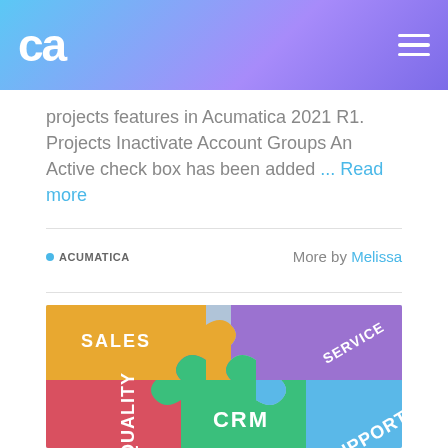CA logo and navigation header
projects features in Acumatica 2021 R1. Projects Inactivate Account Groups An Active check box has been added ... Read more
ACUMATICA   More by Melissa
[Figure (photo): Colorful puzzle pieces with business labels: SALES (yellow/orange), SERVICE (purple), CRM (green), QUALITY (red), SUPPORT (blue)]